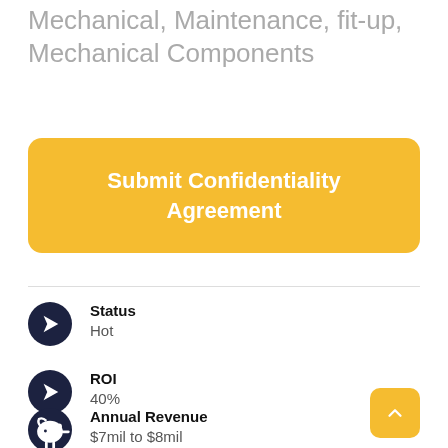Mechanical, Maintenance, fit-up, Mechanical Components
Submit Confidentiality Agreement
Status
Hot
ROI
40%
Annual Revenue
$7mil to $8mil